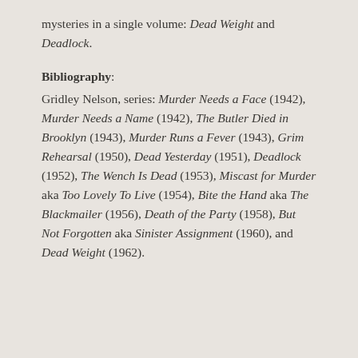mysteries in a single volume: Dead Weight and Deadlock.
Bibliography:
Gridley Nelson, series: Murder Needs a Face (1942), Murder Needs a Name (1942), The Butler Died in Brooklyn (1943), Murder Runs a Fever (1943), Grim Rehearsal (1950), Dead Yesterday (1951), Deadlock (1952), The Wench Is Dead (1953), Miscast for Murder aka Too Lovely To Live (1954), Bite the Hand aka The Blackmailer (1956), Death of the Party (1958), But Not Forgotten aka Sinister Assignment (1960), and Dead Weight (1962).